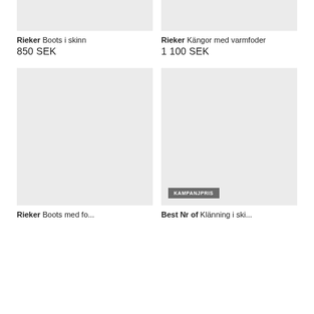[Figure (photo): Product image placeholder top-left, light gray background]
Rieker Boots i skinn
850 SEK
[Figure (photo): Product image placeholder top-right, light gray background]
Rieker Kängor med varmfoder
1 100 SEK
[Figure (photo): Product image placeholder bottom-left, light gray background]
Rieker Boots med...
[Figure (photo): Product image placeholder bottom-right, light gray background, with KAMPANJPRIS badge]
Best Nr of Klänning i...